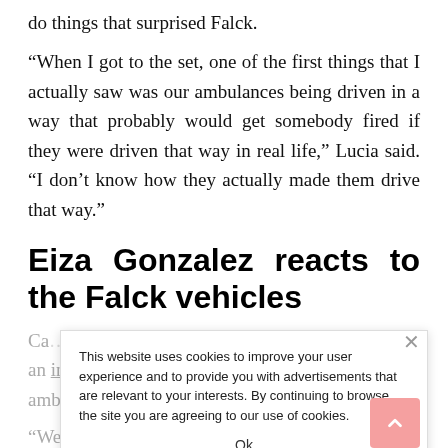do things that surprised Falck.
“When I got to the set, one of the first things that I actually saw was our ambulances being driven in a way that probably would get somebody fired if they were driven that way in real life,” Lucia said. “I don’t know how they actually made them drive that way.”
Eiza Gonzalez reacts to the Falck vehicles
Ca… h an… injured cop. She admits the real Falck ambulance was tight.
“We were in a real ambulance and we had one
This website uses cookies to improve your user experience and to provide you with advertisements that are relevant to your interests. By continuing to browse the site you are agreeing to our use of cookies.
Ok